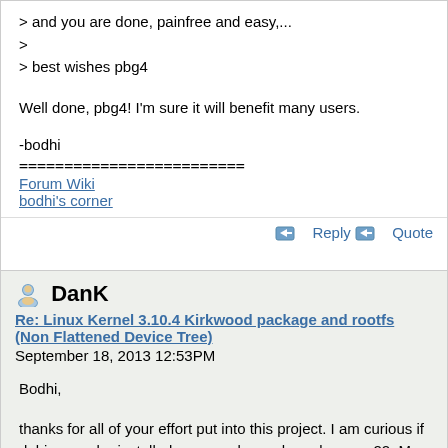> and you are done, painfree and easy,...
>
> best wishes pbg4
Well done, pbg4! I'm sure it will benefit many users.
-bodhi
=========================
Forum Wiki
bodhi's corner
Reply  Quote
DanK
Re: Linux Kernel 3.10.4 Kirkwood package and rootfs (Non Flattened Device Tree)
September 18, 2013 12:53PM
Bodhi,

thanks for all of your effort put into this project. I am curious if debian can be installed on a newly purchased pogo-p22. My attempts have been unsuccessful. Should I keep trying?